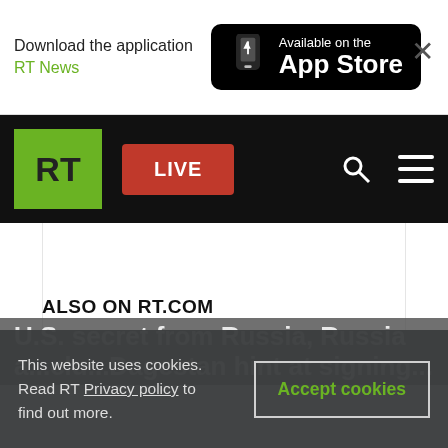[Figure (screenshot): App Store download banner showing 'Download the application RT News' and 'Available on the App Store' button with phone icon]
[Figure (logo): RT navigation bar with green RT logo, red LIVE button, search icon and hamburger menu on black background]
ALSO ON RT.COM
This website uses cookies. Read RT Privacy policy to find out more.
Accept cookies